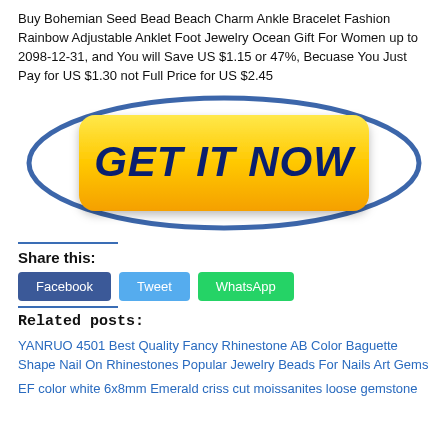Buy Bohemian Seed Bead Beach Charm Ankle Bracelet Fashion Rainbow Adjustable Anklet Foot Jewelry Ocean Gift For Women up to 2098-12-31, and You will Save US $1.15 or 47%, Becuase You Just Pay for US $1.30 not Full Price for US $2.45
[Figure (other): GET IT NOW button with yellow rounded rectangle and dark blue bold italic text, surrounded by a blue oval border]
Share this:
Facebook  Tweet  WhatsApp
Related posts:
YANRUO 4501 Best Quality Fancy Rhinestone AB Color Baguette Shape Nail On Rhinestones Popular Jewelry Beads For Nails Art Gems
EF color white 6x8mm Emerald criss cut moissanites loose gemstone